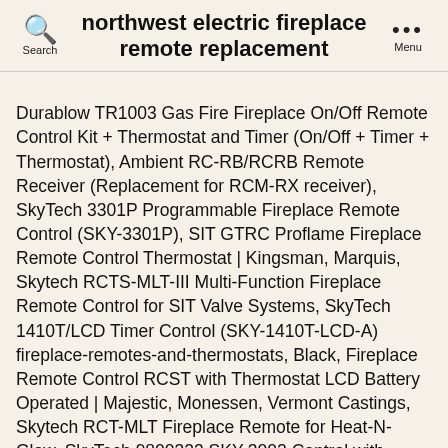northwest electric fireplace remote replacement
Durablow TR1003 Gas Fire Fireplace On/Off Remote Control Kit + Thermostat and Timer (On/Off + Timer + Thermostat), Ambient RC-RB/RCRB Remote Receiver (Replacement for RCM-RX receiver), SkyTech 3301P Programmable Fireplace Remote Control (SKY-3301P), SIT GTRC Proflame Fireplace Remote Control Thermostat | Kingsman, Marquis, Skytech RCTS-MLT-III Multi-Function Fireplace Remote Control for SIT Valve Systems, SkyTech 1410T/LCD Timer Control (SKY-1410T-LCD-A) fireplace-remotes-and-thermostats, Black, Fireplace Remote Control RCST with Thermostat LCD Battery Operated | Majestic, Monessen, Vermont Castings, Skytech RCT-MLT Fireplace Remote for Heat-N-Glow, SkyTech 9800323 SKY-3002 Control with Timer Fireplace-remotes-and-thermostats, Black, PeakPlus LED Motion Sensor Night Light, Stick On Lights, LED Closet Light 10 LED Battery Operated Lights [3 Pack] - Magnetic Wireless Motion Sensor Light Strip for Closet, Under